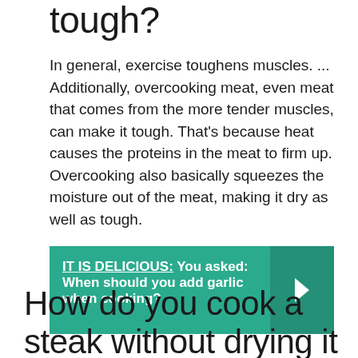tough?
In general, exercise toughens muscles. ... Additionally, overcooking meat, even meat that comes from the more tender muscles, can make it tough. That’s because heat causes the proteins in the meat to firm up. Overcooking also basically squeezes the moisture out of the meat, making it dry as well as tough.
IT IS DELICIOUS:  You asked: When should you add garlic when cooking?
How do you cook a steak without drying it out?